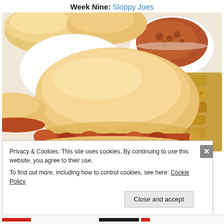Week Nine: Sloppy Joes
[Figure (photo): Close-up photo of sloppy joe sliders on buns with a bowl of sloppy joe meat mixture and tater tots on the side]
Privacy & Cookies: This site uses cookies. By continuing to use this website, you agree to their use.
To find out more, including how to control cookies, see here: Cookie Policy
Close and accept